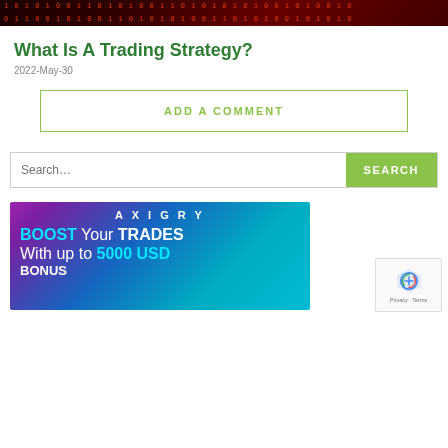[Figure (photo): Dark red background with binary code text pattern in orange]
What Is A Trading Strategy?
2022-May-30
ADD A COMMENT
Search...
[Figure (infographic): AXIGRY promotional banner: BOOST Your TRADES With up to 5000 USD BONUS]